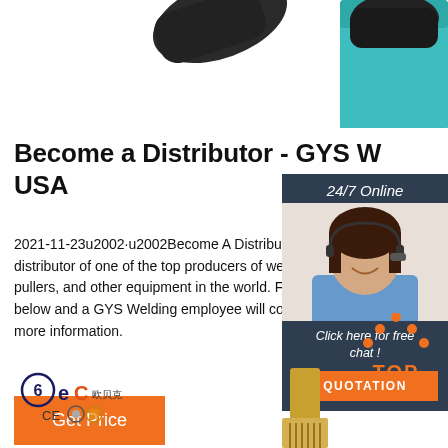[Figure (photo): Partial view of welding product at top of page]
Become a Distributor - GYS Welding USA
2021-11-23u2002·u2002Become A Distributor - become a distributor of one of the top producers of welding, dent pullers, and other equipment in the world. Fill out the form below and a GYS Welding employee will contact you for more information.
[Figure (photo): 24/7 Online chat sidebar with agent photo, Click here for free chat! text, and QUOTATION orange button]
[Figure (other): TOP button with orange dot triangle icon]
[Figure (logo): BEC logo with CE certification marks]
[Figure (photo): Partial bottom product image (brush/welding tool)]